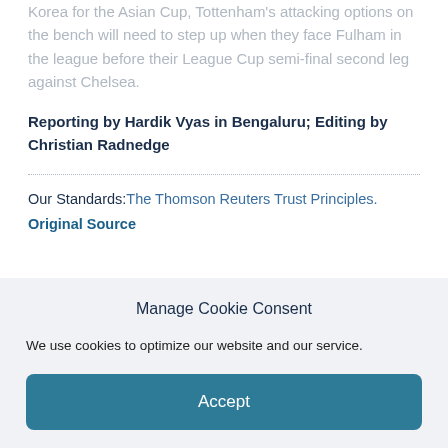Korea for the Asian Cup, Tottenham's attacking options on the bench will need to step up when they face Fulham in the league before their League Cup semi-final second leg against Chelsea.
Reporting by Hardik Vyas in Bengaluru; Editing by Christian Radnedge
Our Standards: The Thomson Reuters Trust Principles.
Original Source